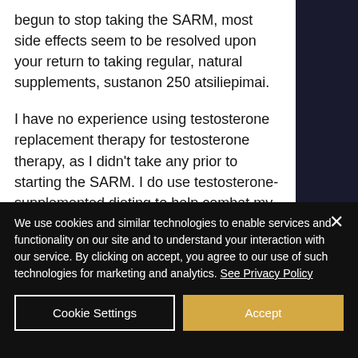begun to stop taking the SARM, most side effects seem to be resolved upon your return to taking regular, natural supplements, sustanon 250 atsiliepimai.
I have no experience using testosterone replacement therapy for testosterone therapy, as I didn't take any prior to starting the SARM. I do use testosterone-supplemented dieting to help combat my acne, dianabol xapia.
We use cookies and similar technologies to enable services and functionality on our site and to understand your interaction with our service. By clicking on accept, you agree to our use of such technologies for marketing and analytics. See Privacy Policy